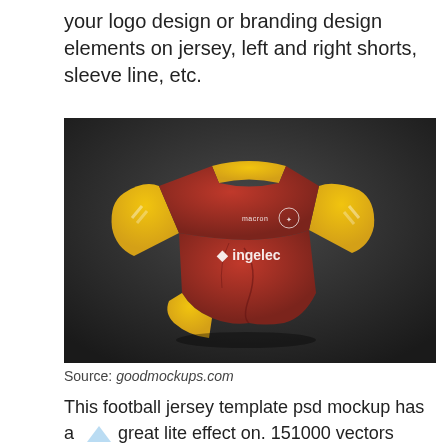your logo design or branding design elements on jersey, left and right shorts, sleeve line, etc.
[Figure (photo): A red and yellow football jersey (soccer shirt) displayed on a dark background. The jersey shows 'macron' and 'ingelec' branding text. The jersey has yellow shoulders and sleeves with red body.]
Source: goodmockups.com
This football jersey template psd mockup has a great lite effect on. 151000 vectors stock photos psd